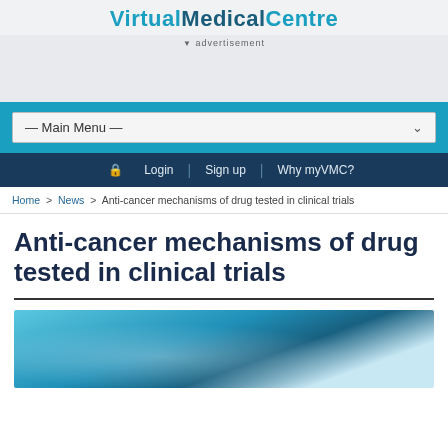VirtualMedicalCentre
▼ advertisement
— Main Menu —
🔒 Login | Sign up | Why myVMC?
Home > News > Anti-cancer mechanisms of drug tested in clinical trials
Anti-cancer mechanisms of drug tested in clinical trials
[Figure (photo): Close-up photo of a scientist or researcher holding a glass vial or petri dish with blue/teal tones, clinical laboratory setting]